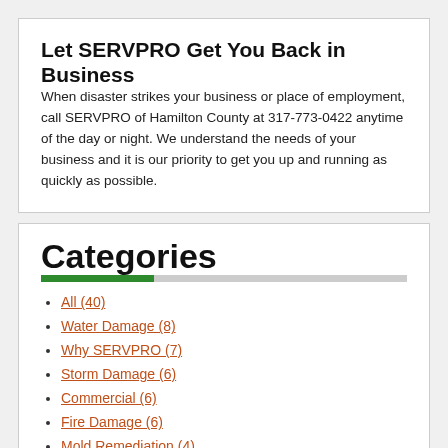Let SERVPRO Get You Back in Business
When disaster strikes your business or place of employment, call SERVPRO of Hamilton County at 317-773-0422 anytime of the day or night. We understand the needs of your business and it is our priority to get you up and running as quickly as possible.
Categories
All (40)
Water Damage (8)
Why SERVPRO (7)
Storm Damage (6)
Commercial (6)
Fire Damage (6)
Mold Remediation (4)
Community (1)
Cleaning (1)
General (1)